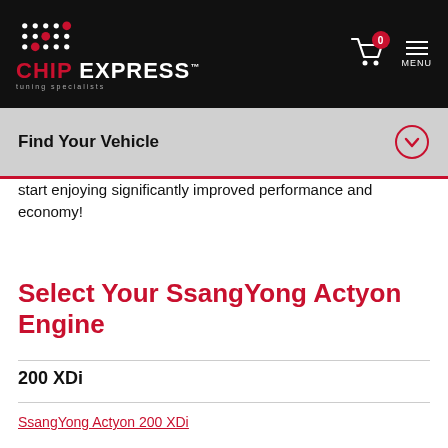Chip Express – tuning specialists header with cart and menu
Find Your Vehicle
start enjoying significantly improved performance and economy!
Select Your SsangYong Actyon Engine
200 XDi
SsangYong Actyon 200 XDi